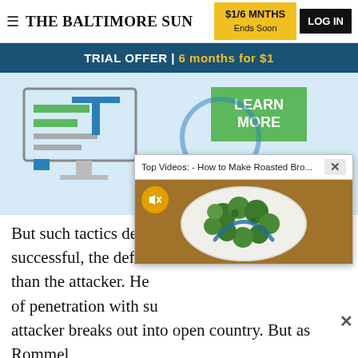THE BALTIMORE SUN | $1/6 MNTHS Ends Soon | LOG IN
TRIAL OFFER | 6 months for $1
[Figure (screenshot): Website advertisement with illustration of a computer/document icon on left and a green 'LEARN MORE' button on the right against a light blue background]
[Figure (screenshot): Video popup overlay titled 'Top Videos: - How to Make Roasted Bro...' showing a plate of roasted broccoli with a mute button icon]
But such tactics depe successful, the defen than the attacker. He of penetration with su attacker breaks out into open country. But as Rommel
ADVERTISEMENT
[Figure (screenshot): ShopRite advertisement: FREE $25 GAS CARD when you buy $75 of participating General Mills products from 8/12 thru 9/3. WITH YOUR [logo]. LEARN MORE button.]